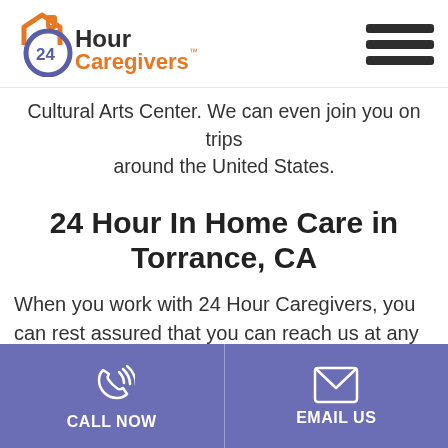[Figure (logo): 24 Hour Caregivers logo with house icon in orange and purple circle with '24' text]
Cultural Arts Center. We can even join you on trips around the United States.
24 Hour In Home Care in Torrance, CA
When you work with 24 Hour Caregivers, you can rest assured that you can reach us at any time. We even have care managers who are available to
CALL NOW | EMAIL US